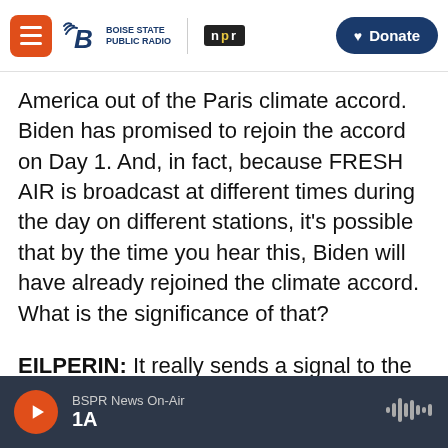Boise State Public Radio | NPR | Donate
America out of the Paris climate accord. Biden has promised to rejoin the accord on Day 1. And, in fact, because FRESH AIR is broadcast at different times during the day on different stations, it's possible that by the time you hear this, Biden will have already rejoined the climate accord. What is the significance of that?
EILPERIN: It really sends a signal to the world that the United States is going to reengage in climate diplomacy and that it will not only take more significant steps to curb its own carbon output, but it will make this a priority when negotiating with
BSPR News On-Air
1A